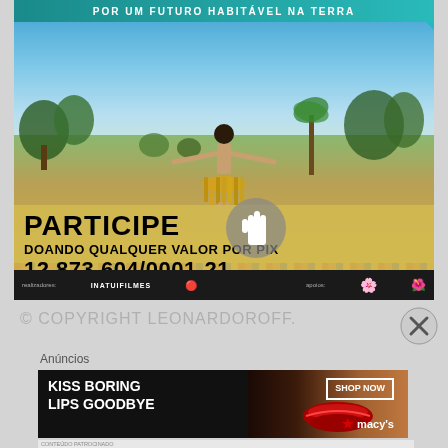[Figure (photo): Advertisement image for a Brazilian environmental/indigenous cause. Shows a person with arms outstretched in a sandy landscape with sparse trees and blue sky. Text overlay reads 'PARTICIPE DOANDO QUALQUER VALOR POR PIX 12.873.604/0001-21 OUCLICANDO AQUI'. Top banner: 'POR UM FUTURO HABITÁVEL NA TERRA'. Bottom bar with logos. Cursor/hand icon overlay.]
© COPYRIGHT LEONARDOROFF.
Anúncios
[Figure (photo): Macy's advertisement banner. Shows a woman's face with red lips. Text: 'KISS BORING LIPS GOODBYE' with 'SHOP NOW' button and Macy's logo with star.]